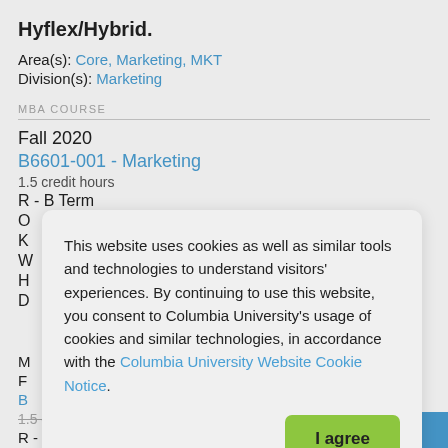Hyflex/Hybrid.
Area(s): Core, Marketing, MKT
Division(s): Marketing
MBA COURSE
Fall 2020
B6601-001 - Marketing
1.5 credit hours
R - B Term
This website uses cookies as well as similar tools and technologies to understand visitors' experiences. By continuing to use this website, you consent to Columbia University's usage of cookies and similar technologies, in accordance with the Columbia University Website Cookie Notice.
Fall 2020
B6601-001 - Marketing
1.5 credit hours
R - B Term